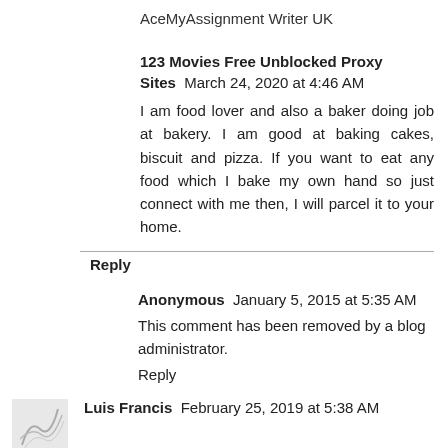AceMyAssignment Writer UK
123 Movies Free Unblocked Proxy Sites  March 24, 2020 at 4:46 AM
I am food lover and also a baker doing job at bakery. I am good at baking cakes, biscuit and pizza. If you want to eat any food which I bake my own hand so just connect with me then, I will parcel it to your home.
Reply
Anonymous  January 5, 2015 at 5:35 AM
This comment has been removed by a blog administrator.
Reply
Luis Francis  February 25, 2019 at 5:38 AM